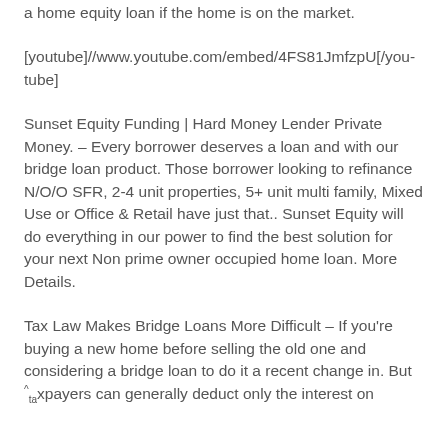a home equity loan if the home is on the market.
[youtube]//www.youtube.com/embed/4FS81JmfzpU[/youtube]
Sunset Equity Funding | Hard Money Lender Private Money. – Every borrower deserves a loan and with our bridge loan product. Those borrower looking to refinance N/O/O SFR, 2-4 unit properties, 5+ unit multi family, Mixed Use or Office & Retail have just that.. Sunset Equity will do everything in our power to find the best solution for your next Non prime owner occupied home loan. More Details.
Tax Law Makes Bridge Loans More Difficult – If you're buying a new home before selling the old one and considering a bridge loan to do it a recent change in. But taxpayers can generally deduct only the interest on two equity loans from